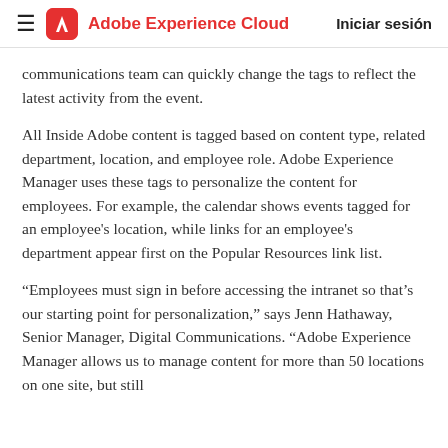Adobe Experience Cloud   Iniciar sesión
communications team can quickly change the tags to reflect the latest activity from the event.
All Inside Adobe content is tagged based on content type, related department, location, and employee role. Adobe Experience Manager uses these tags to personalize the content for employees. For example, the calendar shows events tagged for an employee's location, while links for an employee's department appear first on the Popular Resources link list.
“Employees must sign in before accessing the intranet so that’s our starting point for personalization,” says Jenn Hathaway, Senior Manager, Digital Communications. “Adobe Experience Manager allows us to manage content for more than 50 locations on one site, but still